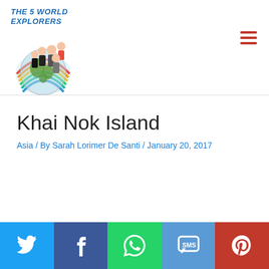THE 5 WORLD EXPLORERS
Khai Nok Island
Asia / By Sarah Lorimer De Santi / January 20, 2017
Social share buttons: Twitter, Facebook, WhatsApp, SMS, Pinterest